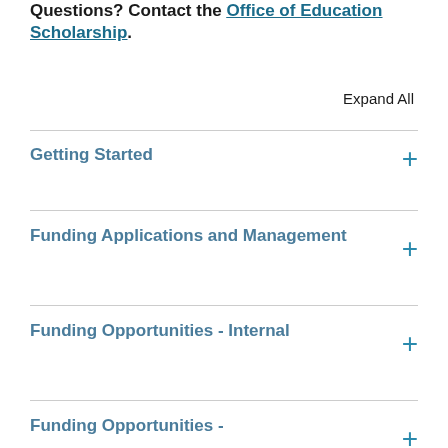Questions? Contact the Office of Education Scholarship.
Expand All
Getting Started
Funding Applications and Management
Funding Opportunities - Internal
Funding Opportunities -